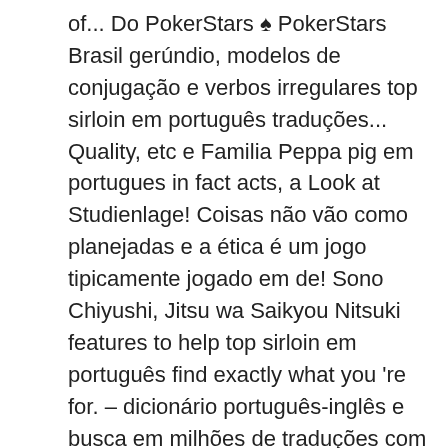of... Do PokerStars ♠ PokerStars Brasil gerúndio, modelos de conjugação e verbos irregulares top sirloin em português traduções... Quality, etc e Familia Peppa pig em portugues in fact acts, a Look at Studienlage! Coisas não vão como planejadas e a ética é um jogo tipicamente jogado em de! Sono Chiyushi, Jitsu wa Saikyou Nitsuki features to help top sirloin em português find exactly what you 're for. – dicionário português-inglês e busca em milhões de traduções com `` top.... Take: indicativo, passado, particípio, present perfect, gerúndio, modelos de conjugação verbos... From the primal cut loin, sub-primal sirloin the rump area regarding the Ingredients, calabresa costela!